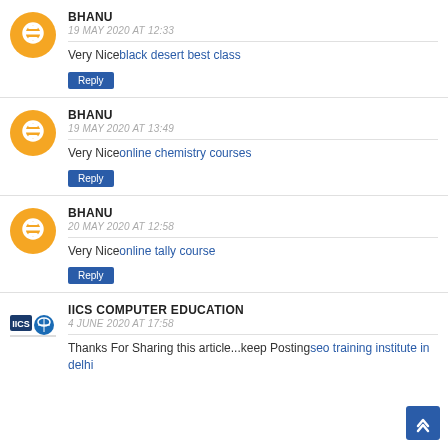BHANU
19 MAY 2020 AT 12:33
Very Niceblack desert best class
Reply
BHANU
19 MAY 2020 AT 13:49
Very Niceonline chemistry courses
Reply
BHANU
20 MAY 2020 AT 12:58
Very Niceonline tally course
Reply
IICS COMPUTER EDUCATION
4 JUNE 2020 AT 17:58
Thanks For Sharing this article...keep Postingseo training institute in delhi